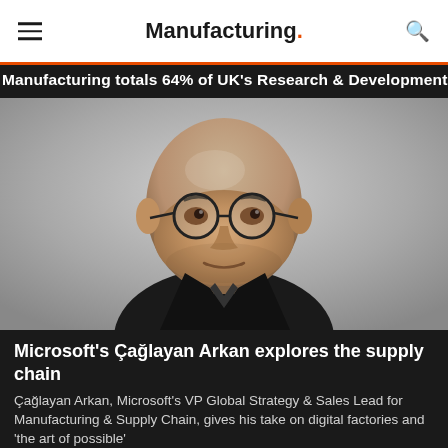Manufacturing.
Manufacturing totals 64% of UK's Research & Development
[Figure (photo): Portrait photo of Çağlayan Arkan, a bald man wearing round black-framed glasses, wearing a dark jacket, against a grey background, smiling slightly]
Microsoft's Çağlayan Arkan explores the supply chain
Çağlayan Arkan, Microsoft's VP Global Strategy & Sales Lead for Manufacturing & Supply Chain, gives his take on digital factories and 'the art of possible'